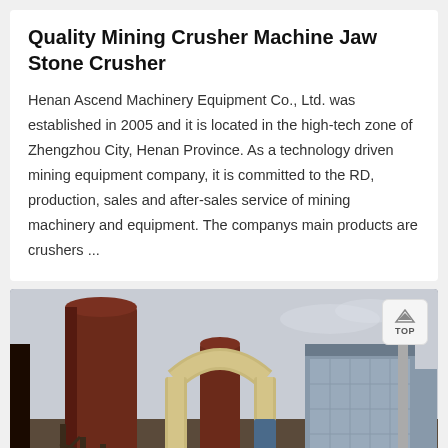Quality Mining Crusher Machine Jaw Stone Crusher
Henan Ascend Machinery Equipment Co., Ltd. was established in 2005 and it is located in the high-tech zone of Zhengzhou City, Henan Province. As a technology driven mining equipment company, it is committed to the RD, production, sales and after-sales service of mining machinery and equipment. The companys main products are crushers ...
[Figure (photo): Industrial mining machinery with large cylindrical silos, connecting pipes, and structural framework against a light sky background.]